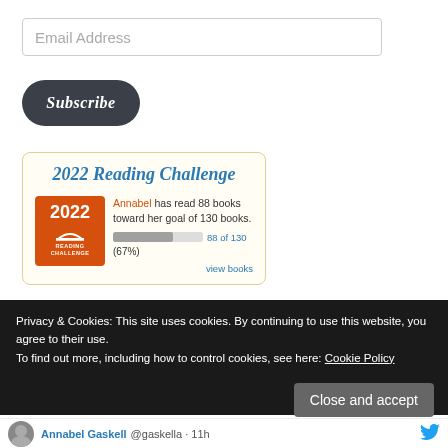Email Address
Subscribe
[Figure (infographic): 2022 Reading Challenge widget. Shows orange badge with '2022 READING CHALLENGE', text 'Annabel has read 88 books toward her goal of 130 books.', progress bar showing 67%, label '88 of 130 (67%)', and 'view books' link.]
Privacy & Cookies: This site uses cookies. By continuing to use this website, you agree to their use.
To find out more, including how to control cookies, see here: Cookie Policy
Close and accept
Annabel Gaskell @gaskella · 11h